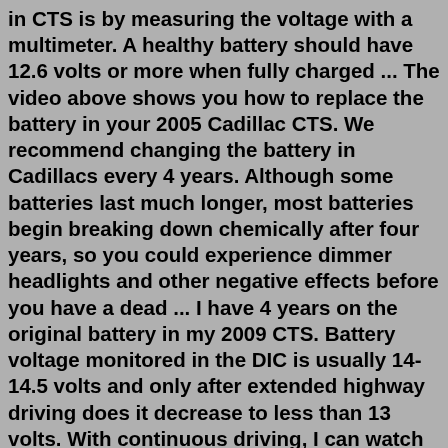in CTS is by measuring the voltage with a multimeter. A healthy battery should have 12.6 volts or more when fully charged ... The video above shows you how to replace the battery in your 2005 Cadillac CTS. We recommend changing the battery in Cadillacs every 4 years. Although some batteries last much longer, most batteries begin breaking down chemically after four years, so you could experience dimmer headlights and other negative effects before you have a dead ... I have 4 years on the original battery in my 2009 CTS. Battery voltage monitored in the DIC is usually 14-14.5 volts and only after extended highway driving does it decrease to less than 13 volts. With continuous driving, I can watch the charge cycle with the voltage rising and falling in a several minute long cycle. MoFex RegisteredCadillac CTS Batteries. Sorting. Show items: 30; 60; 90; Sort by XS Power® 12V D-Series AGM Battery. 4 ... Reserve Capacity: 55. Terminal Location: Top Post. Voltage: 12V. High Output Battery. Max Amp... Proudly Made in the USA Sealed absorbed glass mat (AGM) design that